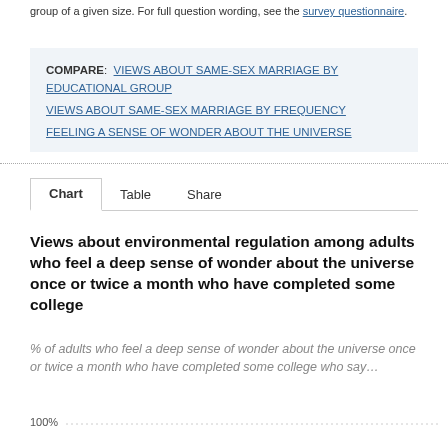group of a given size. For full question wording, see the survey questionnaire.
COMPARE: VIEWS ABOUT SAME-SEX MARRIAGE BY EDUCATIONAL GROUP   VIEWS ABOUT SAME-SEX MARRIAGE BY FREQUENCY   FEELING A SENSE OF WONDER ABOUT THE UNIVERSE
Chart   Table   Share
Views about environmental regulation among adults who feel a deep sense of wonder about the universe once or twice a month who have completed some college
% of adults who feel a deep sense of wonder about the universe once or twice a month who have completed some college who say...
[Figure (bar-chart): Partial bar chart showing 100% gridline at the bottom of the visible area]